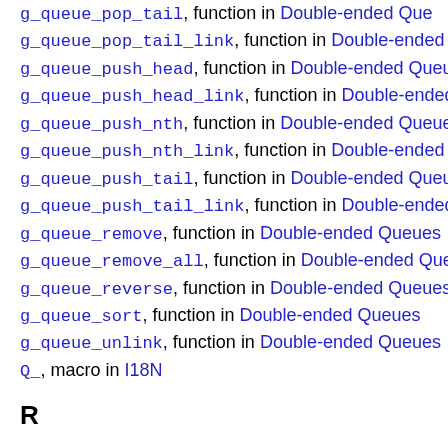g_queue_pop_tail, function in Double-ended Queues
g_queue_pop_tail_link, function in Double-ended Queues
g_queue_push_head, function in Double-ended Queues
g_queue_push_head_link, function in Double-ended Queues
g_queue_push_nth, function in Double-ended Queues
g_queue_push_nth_link, function in Double-ended Queues
g_queue_push_tail, function in Double-ended Queues
g_queue_push_tail_link, function in Double-ended Queues
g_queue_remove, function in Double-ended Queues
g_queue_remove_all, function in Double-ended Queues
g_queue_reverse, function in Double-ended Queues
g_queue_sort, function in Double-ended Queues
g_queue_unlink, function in Double-ended Queues
Q_, macro in I18N
R
GRand, struct in Random Numbers
g_random_boolean, macro in Random Numbers
g_random_double, function in Random Numbers
g_random_double_range, function in Random Numbers
g_random_int, function in Random Numbers